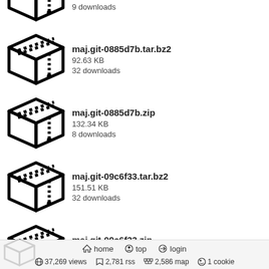maj.git-083625r.zip
179.59 KB
9 downloads
maj.git-0885d7b.tar.bz2
92.63 KB
32 downloads
maj.git-0885d7b.zip
132.34 KB
8 downloads
maj.git-09c6f33.tar.bz2
151.51 KB
32 downloads
maj.git-09c6f33.zip
202.12 KB
8 downloads
maj.git-0b26a85.tar.bz2
151.44 KB
31 downloads
home  top  login
37,269 views  2,781 rss  2,586 map  1 cookie